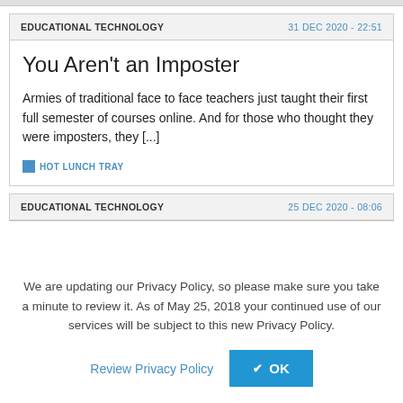EDUCATIONAL TECHNOLOGY | 31 DEC 2020 - 22:51
You Aren't an Imposter
Armies of traditional face to face teachers just taught their first full semester of courses online. And for those who thought they were imposters, they [...]
HOT LUNCH TRAY
EDUCATIONAL TECHNOLOGY | 25 DEC 2020 - 08:06
We are updating our Privacy Policy, so please make sure you take a minute to review it. As of May 25, 2018 your continued use of our services will be subject to this new Privacy Policy.
Review Privacy Policy  ✔ OK